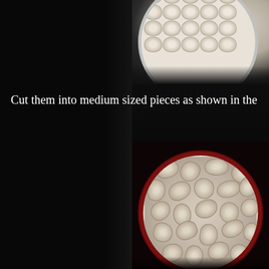[Figure (photo): Top-down view of whole button mushrooms arranged on a white round plate against a dark background, partially visible (cropped at top and right)]
Cut them into medium sized pieces as shown in the
[Figure (photo): A white round plate with red rim containing cut mushroom pieces (medium sized), photographed from above on a dark background]